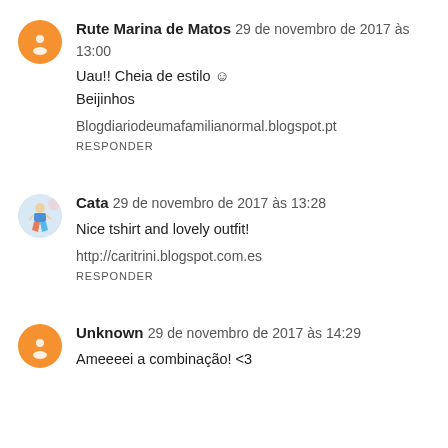Rute Marina de Matos  29 de novembro de 2017 às 13:00
Uau!! Cheia de estilo ☺
Beijinhos

Blogdiariodeumafamilianormal.blogspot.pt
RESPONDER
Cata  29 de novembro de 2017 às 13:28
Nice tshirt and lovely outfit!

http://caritrini.blogspot.com.es
RESPONDER
Unknown  29 de novembro de 2017 às 14:29
Ameeeei a combinação! <3